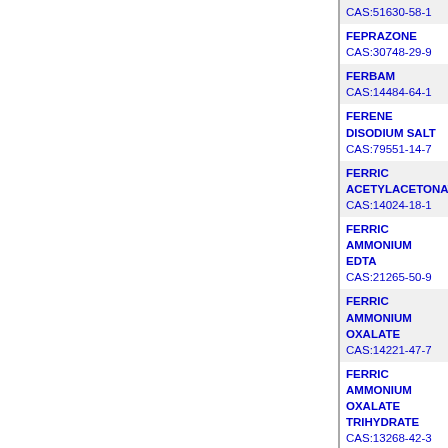CAS:51630-58-1
FEPRAZONE
CAS:30748-29-9
FERBAM
CAS:14484-64-1
FERENE DISODIUM SALT
CAS:79551-14-7
FERRIC ACETYLACETONATE
CAS:14024-18-1
FERRIC AMMONIUM EDTA
CAS:21265-50-9
FERRIC AMMONIUM OXALATE
CAS:14221-47-7
FERRIC AMMONIUM OXALATE TRIHYDRATE
CAS:13268-42-3
FERRIC CHLORIDE
CAS:7705-08-0
FERRIC CHLORIDE HEXAHYDRATE
CAS:10025-77-1
FERRIC GLYCEROPHOSPHATE
CAS:1301-70-8
FERRIC NITRATE
CAS:10421-48-4
FERRIC NITRATE NONAHYDRATE
CAS:7782-61-8
FERRIC OXALATE
CAS:2944-66-3